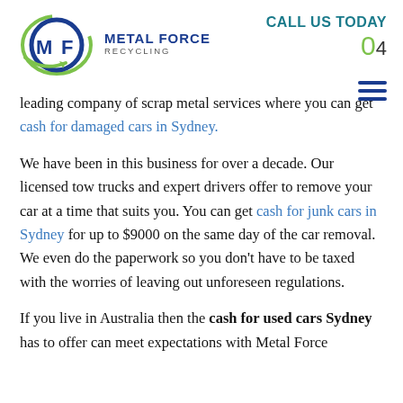[Figure (logo): Metal Force Recycling logo with circular MF emblem in blue and green, with company name text]
CALL US TODAY 04
leading company of scrap metal services where you can get cash for damaged cars in Sydney.
We have been in this business for over a decade. Our licensed tow trucks and expert drivers offer to remove your car at a time that suits you. You can get cash for junk cars in Sydney for up to $9000 on the same day of the car removal. We even do the paperwork so you don't have to be taxed with the worries of leaving out unforeseen regulations.
If you live in Australia then the cash for used cars Sydney has to offer can meet expectations with Metal Force